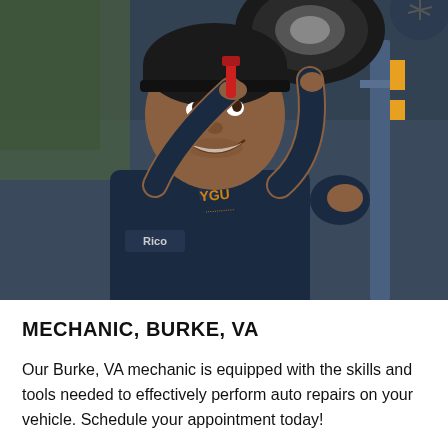[Figure (photo): A smiling male auto mechanic named Rico, wearing a dark navy uniform with his name tag visible, working underneath a lifted vehicle holding a red tool. The garage background shows equipment and a lift.]
MECHANIC, BURKE, VA
Our Burke, VA mechanic is equipped with the skills and tools needed to effectively perform auto repairs on your vehicle. Schedule your appointment today!